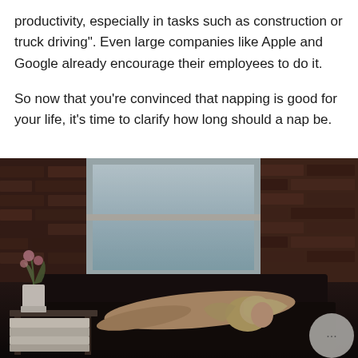productivity, especially in tasks such as construction or truck driving". Even large companies like Apple and Google already encourage their employees to do it.
So now that you're convinced that napping is good for your life, it's time to clarify how long should a nap be.
[Figure (photo): A person (blonde hair) lying/napping on a dark sofa in a dim room with a brick wall and a window behind them. A white pot with flowers and a stack of books on a table are visible on the left. A circular chat button with '...' is visible in the bottom right corner.]